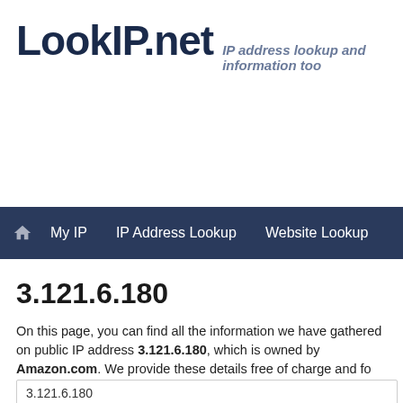LookIP.net — IP address lookup and information too
My IP   IP Address Lookup   Website Lookup
3.121.6.180
On this page, you can find all the information we have gathered on public IP address 3.121.6.180, which is owned by Amazon.com. We provide these details free of charge and for personal investigation purposes. We have included facts like network details such as DNS and hostname, but also detailed location information. We answer questions like what is 3.121.6.180? Who is behind it and what is its reputation?
3.121.6.180